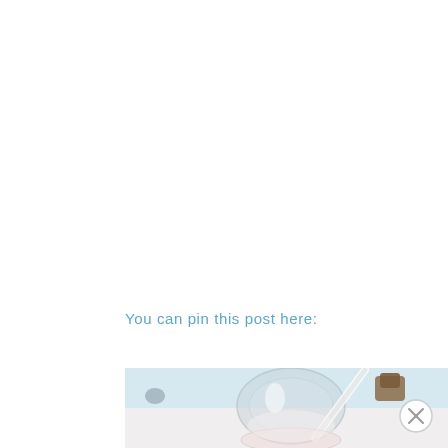You can pin this post here:
[Figure (photo): Close-up photo of glass jars and items on a light blue background, partially cropped at bottom of page]
[Figure (other): Close button (X in a circle) in the bottom right corner]